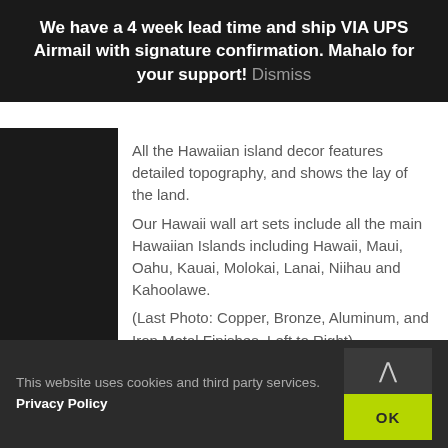We have a 4 week lead time and ship VIA UPS Airmail with signature confirmation. Mahalo for your support! Dismiss
All the Hawaiian island decor features detailed topography, and shows the lay of the land.
Our Hawaii wall art sets include all the main Hawaiian Islands including Hawaii, Maui, Oahu, Kauai, Molokai, Lanai, Niihau and Kahoolawe.
(Last Photo: Copper, Bronze, Aluminum, and Iron Metal Finishes–Left to Right)
The information tabs within this listing cover a variety of topics such as how the artwork is made, where it can be hung, finishing options, current lead time, etc.
This website uses cookies and third party services. Privacy Policy OK